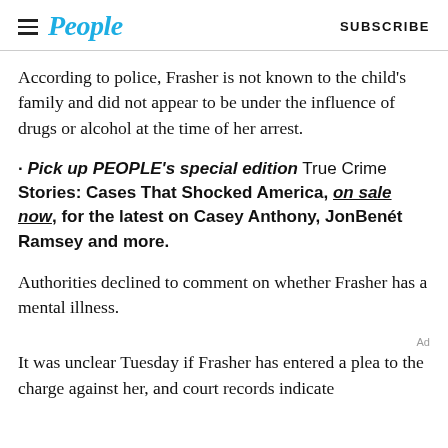People | SUBSCRIBE
According to police, Frasher is not known to the child's family and did not appear to be under the influence of drugs or alcohol at the time of her arrest.
· Pick up PEOPLE's special edition True Crime Stories: Cases That Shocked America, on sale now, for the latest on Casey Anthony, JonBenét Ramsey and more.
Authorities declined to comment on whether Frasher has a mental illness.
It was unclear Tuesday if Frasher has entered a plea to the charge against her, and court records indicate